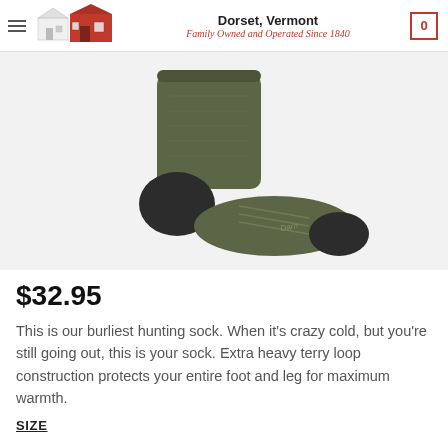Dorset, Vermont — Family Owned and Operated Since 1840
[Figure (photo): A green and black ankle hiking/hunting sock shown in profile on a white background. The sock has black toe and heel areas, with olive/army green upper and textured knit construction. A subtle brand logo is visible on the ankle.]
$32.95
This is our burliest hunting sock. When it’s crazy cold, but you’re still going out, this is your sock. Extra heavy terry loop construction protects your entire foot and leg for maximum warmth.
SIZE